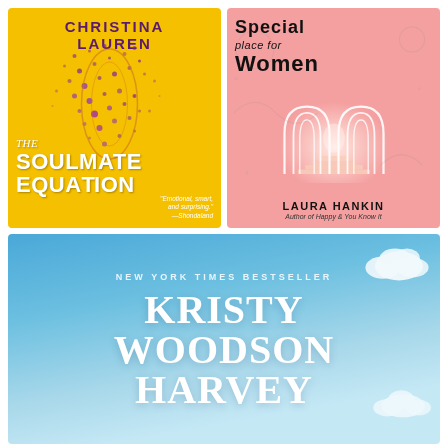[Figure (illustration): Book cover: The Soulmate Equation by Christina Lauren. Yellow background with purple dot-scatter pattern forming a figure, white bold title text 'THE SOULMATE EQUATION', purple author name 'CHRISTINA LAUREN' at top, small italic quote bottom right.]
[Figure (illustration): Book cover: A Special Place for Women by Laura Hankin. Pink background with arched corridor perspective illustration, bold black title text 'Special place for WOMEN', author name 'LAURA HANKIN' at bottom, subtitle 'Author of Happy & You Know It'.]
[Figure (illustration): Book cover: By Kristy Woodson Harvey. Blue sky background with white clouds, label 'NEW YORK TIMES BESTSELLER' in small caps, large white serif author name 'KRISTY WOODSON HARVEY' spanning full width.]